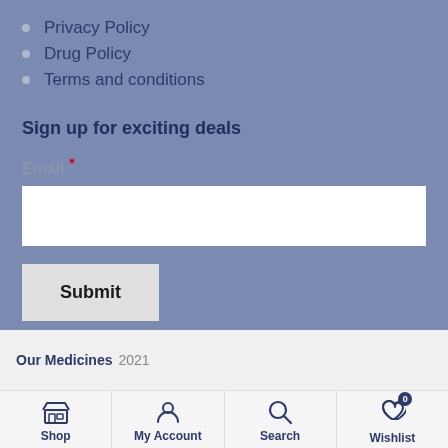Privacy Policy
Drug Policy
Terms and conditions
Sign up for exciting deals
Email *
Our Medicines 2021
Shop
My Account
Search
Wishlist